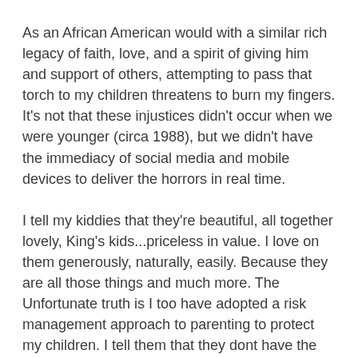As an African American would with a similar rich legacy of faith, love, and a spirit of giving him and support of others, attempting to pass that torch to my children threatens to burn my fingers. It's not that these injustices didn't occur when we were younger (circa 1988), but we didn't have the immediacy of social media and mobile devices to deliver the horrors in real time.
I tell my kiddies that they're beautiful, all together lovely, King's kids...priceless in value. I love on them generously, naturally, easily. Because they are all those things and much more. The Unfortunate truth is I too have adopted a risk management approach to parenting to protect my children. I tell them that they dont have the luxury of going to school with bed head because of the prejudgments that may exist in their hyper white school. I tell them that they can't walk to the local 7-11 with a group of kids for fear it will incite suspicion.